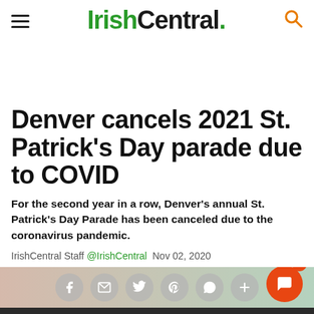IrishCentral.
Denver cancels 2021 St. Patrick's Day parade due to COVID
For the second year in a row, Denver's annual St. Patrick's Day Parade has been canceled due to the coronavirus pandemic.
IrishCentral Staff @IrishCentral Nov 02, 2020